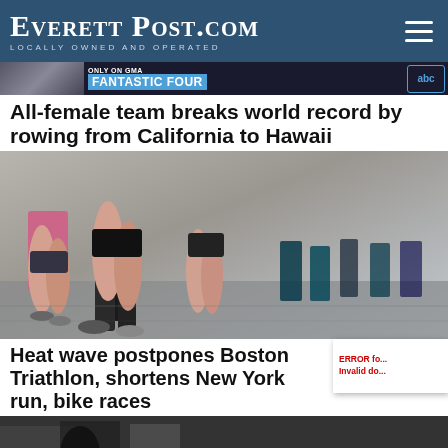EverettPost.com — Locally Owned and Operated
[Figure (screenshot): GMA banner showing 'ONLY ON GMA' and 'FANTASTIC FOUR' with ABC logo]
All-female team breaks world record by rowing from California to Hawaii
[Figure (photo): Runners' legs on a road during a race event, multiple runners visible]
Heat wave postpones Boston Triathlon, shortens New York run, bike races
ERROR fo... Invalid do...
[Figure (photo): Bottom portion of another photo, partially visible runners in dark tones]